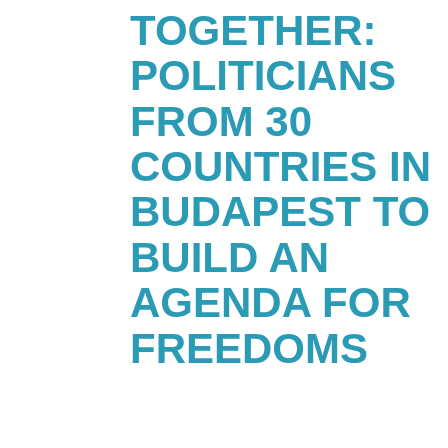TOGETHER: POLITICIANS FROM 30 COUNTRIES IN BUDAPEST TO BUILD AN AGENDA FOR FREEDOMS